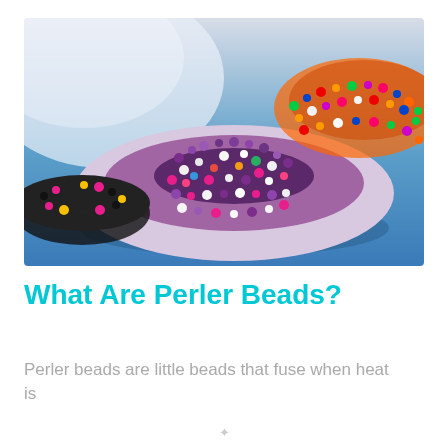[Figure (photo): Two colorful bowls made from fused Perler beads on a blue surface. The larger bowl in the foreground is multi-colored with purple, white, pink and other colors. A smaller black, pink and yellow bowl is partially visible on the left. A third bowl with bright rainbow colors is visible in the upper right.]
What Are Perler Beads?
Perler beads are little beads that fuse when heat is